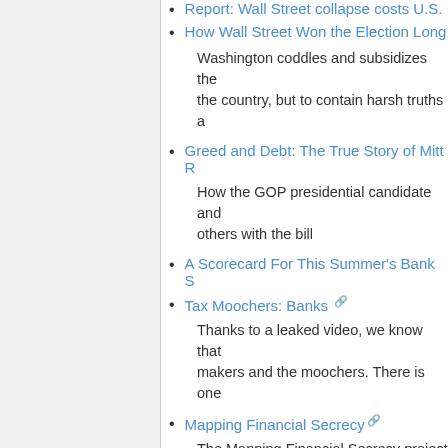Report: Wall Street collapse costs U.S.…
How Wall Street Won the Election Long…
Washington coddles and subsidizes the… the country, but to contain harsh truths a…
Greed and Debt: The True Story of Mitt R…
How the GOP presidential candidate and… others with the bill
A Scorecard For This Summer's Bank S…
Tax Moochers: Banks
Thanks to a leaked video, we know that… makers and the moochers. There is one…
Mapping Financial Secrecy
The Mapping Financial Secrecy project i… considered a major research project in it… Mapping the Faultlines, this is the larges…
Financial Secrecy Index
The Financial Secrecy Index is a tool fo… ranking secrecy jurisdictions according to…